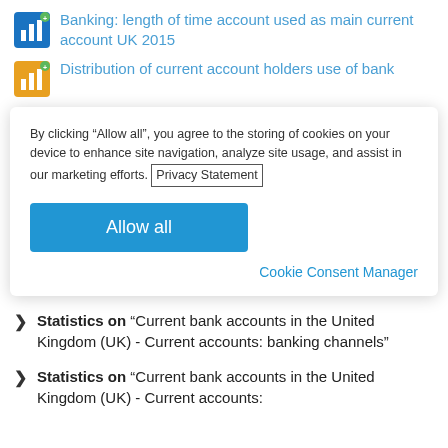Banking: length of time account used as main current account UK 2015
Distribution of current account holders use of bank
By clicking “Allow all”, you agree to the storing of cookies on your device to enhance site navigation, analyze site usage, and assist in our marketing efforts. Privacy Statement
Allow all
Cookie Consent Manager
Statistics on "Current bank accounts in the United Kingdom (UK) - Current accounts: banking channels"
Statistics on "Current bank accounts in the United Kingdom (UK) - Current accounts: